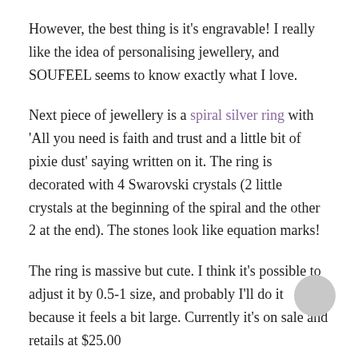However, the best thing is it's engravable! I really like the idea of personalising jewellery, and SOUFEEL seems to know exactly what I love.
Next piece of jewellery is a spiral silver ring with 'All you need is faith and trust and a little bit of pixie dust' saying written on it. The ring is decorated with 4 Swarovski crystals (2 little crystals at the beginning of the spiral and the other 2 at the end). The stones look like equation marks!
The ring is massive but cute. I think it's possible to adjust it by 0.5-1 size, and probably I'll do it because it feels a bit large. Currently it's on sale and retails at $25.00
Here's how the rings looks at a normal hand to face